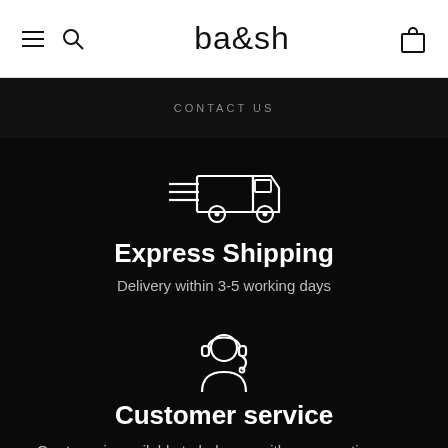ba&sh
CONTACT US
[Figure (illustration): White outline icon of a delivery truck with speed lines on a dark background]
Express Shipping
Delivery within 3-5 working days
[Figure (illustration): White outline icon of a customer service agent with headset on a dark background]
Customer service
Our team is available to help you with any questions you may have